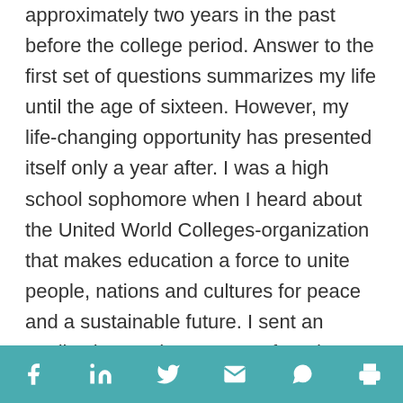approximately two years in the past before the college period. Answer to the first set of questions summarizes my life until the age of sixteen. However, my life-changing opportunity has presented itself only a year after. I was a high school sophomore when I heard about the United World Colleges-organization that makes education a force to unite people, nations and cultures for peace and a sustainable future. I sent an application, and next year, I found myself studying in Italy with 200 students from 89 countries. At United World College of the Adriatic (UWCAd) I continued discovering myself. I tried climbing and digital photography. I volunteered with immigrants, elderly people, and worked on conflict resolutions
Social share icons: Facebook, LinkedIn, Twitter, Email, WhatsApp, Print